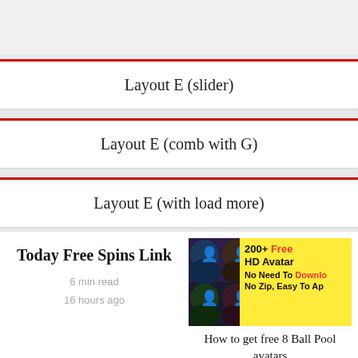Layout E (slider)
Layout E (comb with G)
Layout E (with load more)
Today Free Spins Link
6 min read
16 hours ago
[Figure (photo): Collage of dark fantasy/game avatars and characters]
200+ Free HD Avatar
No Need To Download
No Zip, Easy To Apply
How to get free 8 Ball Pool avatars